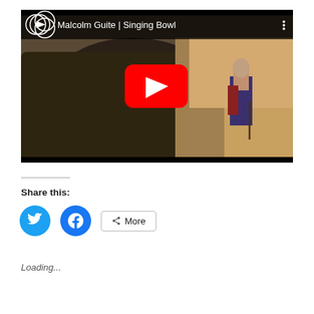[Figure (screenshot): YouTube video embed thumbnail showing Malcolm Guite | Singing Bowl. A man with white hair and beard stands in a rocky cave/gorge holding a stick, wearing a blue jacket and red vest. A YouTube play button overlay is centered on the image. The top bar shows the YouTube logo (interlocked circles icon) and video title 'Malcolm Guite | Singing Bowl' with a three-dot menu icon on the right.]
Share this:
[Figure (infographic): Social sharing buttons: Twitter (bird icon, cyan circle), Facebook (f icon, blue circle), and a 'More' button with share icon and border.]
Loading...